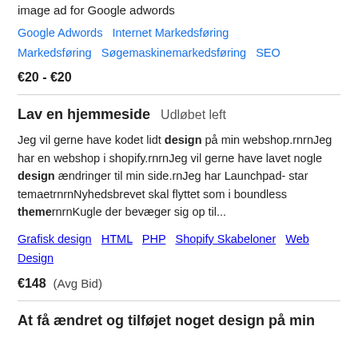image ad for Google adwords
Google Adwords   Internet Markedsføring   Markedsføring   Søgemaskinemarkedsføring   SEO
€20 - €20
Lav en hjemmeside   Udløbet left
Jeg vil gerne have kodet lidt design på min webshop.rnrnJeg har en webshop i shopify.rnrnJeg vil gerne have lavet nogle design ændringer til min side.rnJeg har Launchpad- star temaetrnrnNyhedsbrevet skal flyttet som i boundless themernrnKugle der bevæger sig op til...
Grafisk design   HTML   PHP   Shopify Skabeloner   Web Design
€148  (Avg Bid)
At få ændret og tilføjet noget design på min